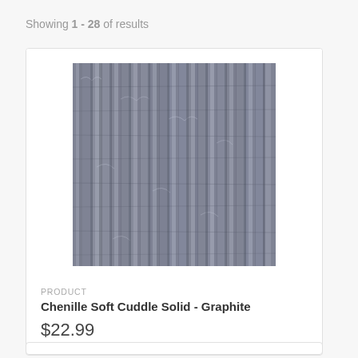Showing 1 - 28 of results
[Figure (photo): Close-up photo of dark gray chenille yarn with fluffy twisted texture, graphite color]
PRODUCT
Chenille Soft Cuddle Solid - Graphite
$22.99